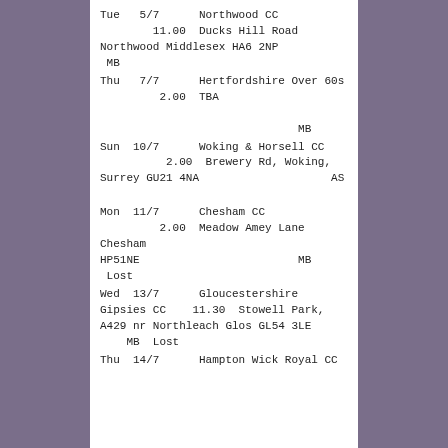Tue   5/7       Northwood CC
        11.00   Ducks Hill Road Northwood Middlesex HA6 2NP
 MB
Thu   7/7       Hertfordshire Over 60s
        2.00   TBA
                              MB
Sun  10/7       Woking & Horsell CC
          2.00   Brewery Rd, Woking, Surrey GU21 4NA                 AS
Mon  11/7       Chesham CC
        2.00   Meadow Amey Lane Chesham HP51NE                MB
 Lost
Wed  13/7       Gloucestershire Gipsies CC    11.30   Stowell Park, A429 nr Northleach Glos GL54 3LE
    MB  Lost
Thu  14/7       Hampton Wick Royal CC